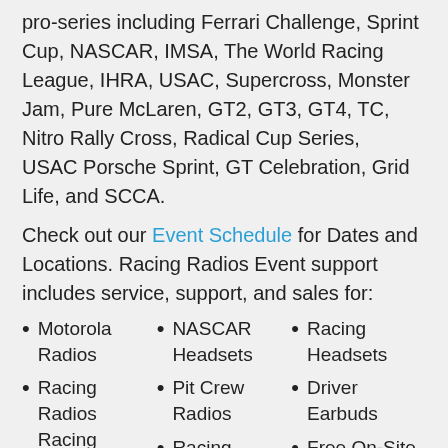pro-series including Ferrari Challenge, Sprint Cup, NASCAR, IMSA, The World Racing League, IHRA, USAC, Supercross, Monster Jam, Pure McLaren, GT2, GT3, GT4, TC, Nitro Rally Cross, Radical Cup Series, USAC Porsche Sprint, GT Celebration, Grid Life, and SCCA.
Check out our Event Schedule for Dates and Locations. Racing Radios Event support includes service, support, and sales for:
Motorola Radios
NASCAR Headsets
Racing Headsets
Racing Radios Racing Headphones
Pit Crew Radios
Driver Earbuds
Car Harnesses | Wiring Harness
Racing Antennas
Free On-Site Ear Impressions
Fan Intercom